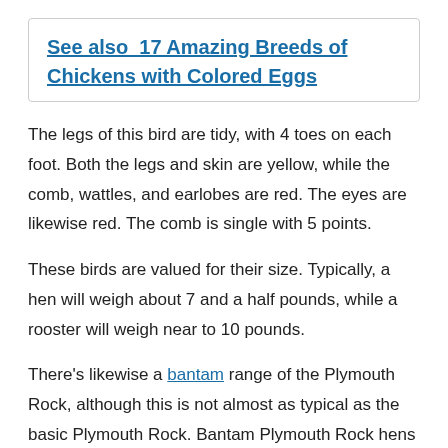See also  17 Amazing Breeds of Chickens with Colored Eggs
The legs of this bird are tidy, with 4 toes on each foot. Both the legs and skin are yellow, while the comb, wattles, and earlobes are red. The eyes are likewise red. The comb is single with 5 points.
These birds are valued for their size. Typically, a hen will weigh about 7 and a half pounds, while a rooster will weigh near to 10 pounds.
There's likewise a bantam range of the Plymouth Rock, although this is not almost as typical as the basic Plymouth Rock. Bantam Plymouth Rock hens have to do with 2 and a half pounds while males are somewhat bigger, at 3 pounds.
Confessed to the American Poultry Association in 1874, there are